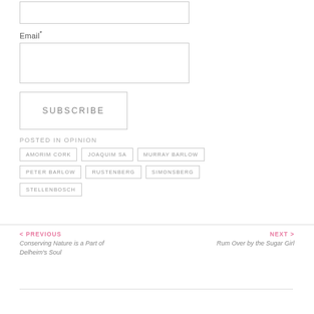Email*
SUBSCRIBE
POSTED IN OPINION
AMORIM CORK
JOAQUIM SA
MURRAY BARLOW
PETER BARLOW
RUSTENBERG
SIMONSBERG
STELLENBOSCH
< PREVIOUS
Conserving Nature is a Part of Delheim's Soul
NEXT >
Rum Over by the Sugar Girl